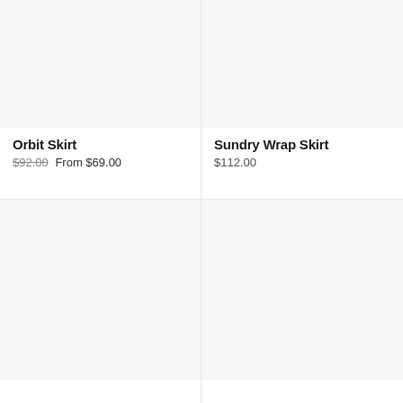[Figure (photo): Product image placeholder for Orbit Skirt, light gray background]
Orbit Skirt
$92.00 From $69.00
[Figure (photo): Product image placeholder for Sundry Wrap Skirt, light gray background]
Sundry Wrap Skirt
$112.00
[Figure (photo): Product image placeholder bottom-left, light gray background]
[Figure (photo): Product image placeholder bottom-right, light gray background]